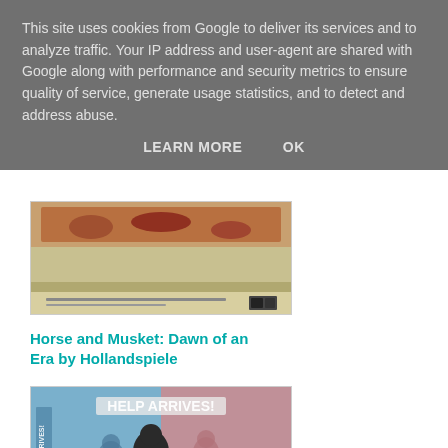This site uses cookies from Google to deliver its services and to analyze traffic. Your IP address and user-agent are shared with Google along with performance and security metrics to ensure quality of service, generate usage statistics, and to detect and address abuse.
LEARN MORE    OK
[Figure (illustration): Book cover for 'Horse and Musket: Dawn of an Era by Hollandspiele' showing a historical battle scene painting with horses and soldiers]
Horse and Musket: Dawn of an Era by Hollandspiele
[Figure (illustration): Book cover for 'Help Arrives! by Draco Ideas' showing retro-style illustration with text 'Help Arrives!' and figures of people]
Help Arrives! by Draco Ideas